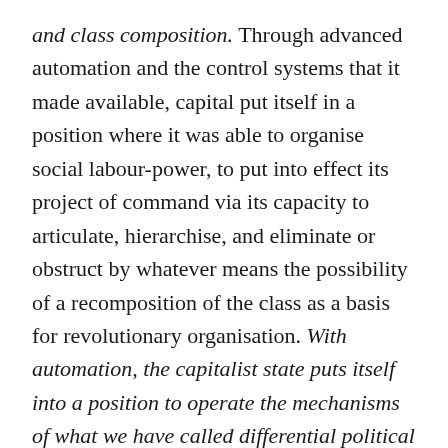and class composition. Through advanced automation and the control systems that it made available, capital put itself in a position where it was able to organise social labour-power, to put into effect its project of command via its capacity to articulate, hierarchise, and eliminate or obstruct by whatever means the possibility of a recomposition of the class as a basis for revolutionary organisation. With automation, the capitalist state puts itself into a position to operate the mechanisms of what we have called differential political income as a means of command over the whole social field of labour. But it is energy policy above all which enables capital to play its trump card – the monstrous attempt to make its power absolute, to consolidate capital's command and the regime of profit irreversibly and in the long term. It is through energy policy that the state tries to establish the absolutely power of